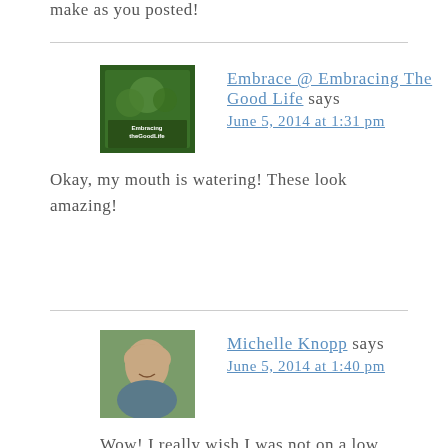make as you posted!
Embrace @ Embracing The Good Life says
June 5, 2014 at 1:31 pm
Okay, my mouth is watering! These look amazing!
Michelle Knopp says
June 5, 2014 at 1:40 pm
Wow! I really wish I was not on a low carb diet right now, but I think I'll save this